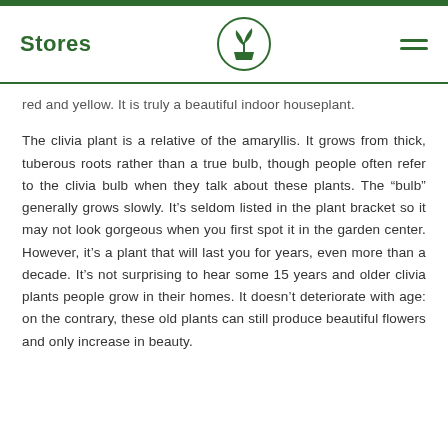Stores
red and yellow. It is truly a beautiful indoor houseplant.

The clivia plant is a relative of the amaryllis. It grows from thick, tuberous roots rather than a true bulb, though people often refer to the clivia bulb when they talk about these plants. The “bulb” generally grows slowly. It’s seldom listed in the plant bracket so it may not look gorgeous when you first spot it in the garden center. However, it’s a plant that will last you for years, even more than a decade. It’s not surprising to hear some 15 years and older clivia plants people grow in their homes. It doesn’t deteriorate with age: on the contrary, these old plants can still produce beautiful flowers and only increase in beauty.